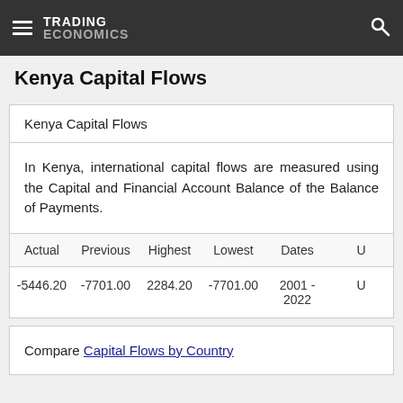TRADING ECONOMICS
Kenya Capital Flows
Kenya Capital Flows
In Kenya, international capital flows are measured using the Capital and Financial Account Balance of the Balance of Payments.
| Actual | Previous | Highest | Lowest | Dates | U |
| --- | --- | --- | --- | --- | --- |
| -5446.20 | -7701.00 | 2284.20 | -7701.00 | 2001 - 2022 | U |
Compare Capital Flows by Country
Related